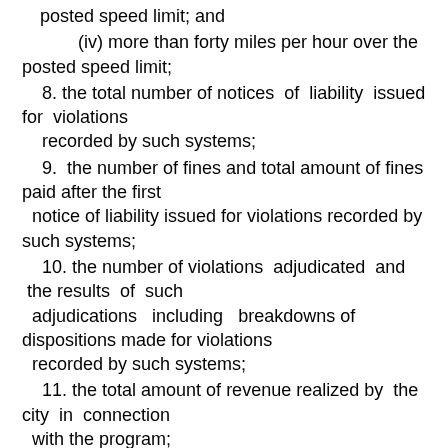posted speed limit; and
(iv) more than forty miles per hour over the posted speed limit;
8. the total number of notices of liability issued for violations recorded by such systems;
9. the number of fines and total amount of fines paid after the first notice of liability issued for violations recorded by such systems;
10. the number of violations adjudicated and the results of such adjudications including breakdowns of dispositions made for violations recorded by such systems;
11. the total amount of revenue realized by the city in connection with the program;